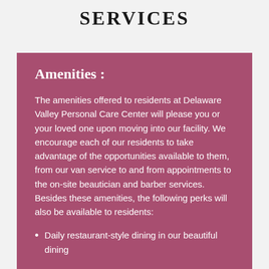SERVICES
Amenities :
The amenities offered to residents at Delaware Valley Personal Care Center will please you or your loved one upon moving into our facility. We encourage each of our residents to take advantage of the opportunities available to them, from our van service to and from appointments to the on-site beautician and barber services. Besides these amenities, the following perks will also be available to residents:
Daily restaurant-style dining in our beautiful dining